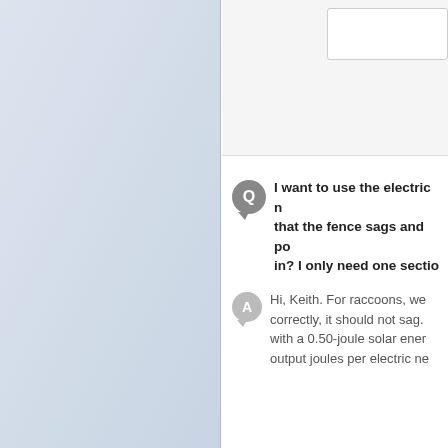I want to use the electric netting — that the fence sags and posts lean in? I only need one section
Hi, Keith. For raccoons, we correctly, it should not sag. with a 0.50-joule solar energ output joules per electric ne
We need to make a pasture considering lining the past energized. Thoughts? My will draw down our fence
Hello, Ellen. We recommende you will need a 2-joule ener other. If you have any other